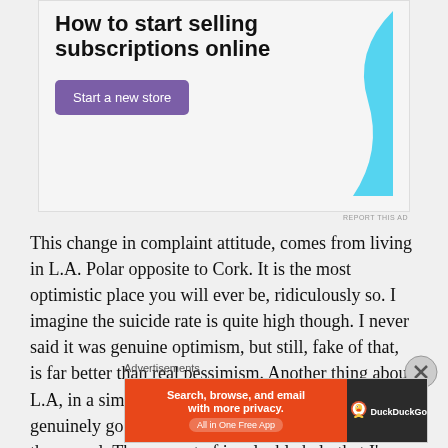[Figure (screenshot): Advertisement banner: 'How to start selling subscriptions online' with purple 'Start a new store' button and blue decorative graphic]
This change in complaint attitude, comes from living in L.A. Polar opposite to Cork. It is the most optimistic place you will ever be, ridiculously so. I imagine the suicide rate is quite high though. I never said it was genuine optimism, but still, fake of that, is far better than real pessimism. Another thing about L.A, in a similar fashion, is that people there will genuinely go out of their way to help you. More so than usual. The amount of invaluable help that I've gotten for free is unreal... acting classes, writing advice
[Figure (screenshot): DuckDuckGo advertisement: 'Search, browse, and email with more privacy. All in One Free App' on orange background with DuckDuckGo logo on dark right panel]